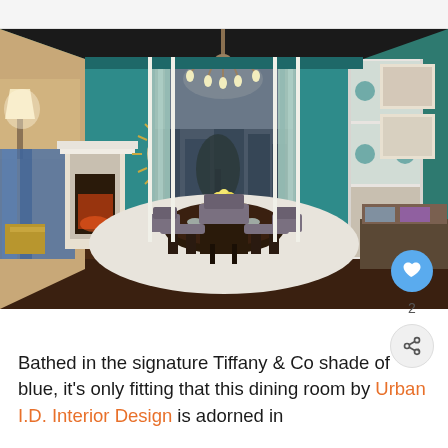[Figure (photo): Interior dining room photo bathed in teal/Tiffany blue. Features a round dining table with chairs, an ornate chandelier, light blue patterned curtains, teal accent walls, a white fireplace on the left, a decorative sunburst mirror, a china cabinet on the right, and various decorative accessories. Dark wood floor with a light cream area rug.]
Bathed in the signature Tiffany & Co shade of blue, it's only fitting that this dining room by Urban I.D. Interior Design is adorned in